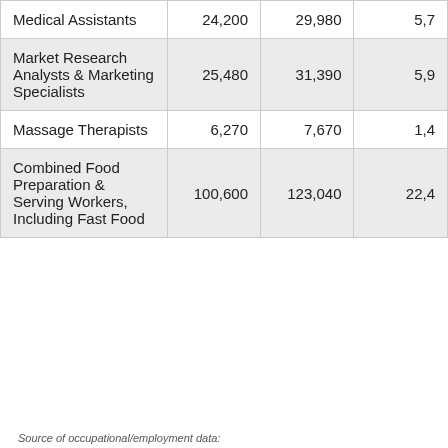| Occupation | 2010 | 2020 | Change |
| --- | --- | --- | --- |
| Medical Assistants | 24,200 | 29,980 | 5,7... |
| Market Research Analysts & Marketing Specialists | 25,480 | 31,390 | 5,9... |
| Massage Therapists | 6,270 | 7,670 | 1,4... |
| Combined Food Preparation & Serving Workers, Including Fast Food | 100,600 | 123,040 | 22,4... |
Source of occupational/employment data: